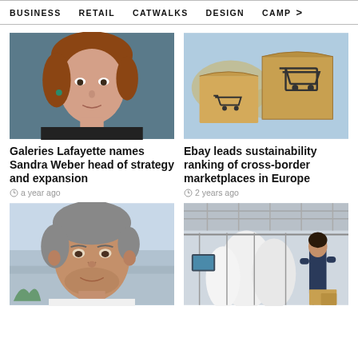BUSINESS   RETAIL   CATWALKS   DESIGN   CAMP  >
[Figure (photo): Portrait of Sandra Weber, a woman with reddish-brown hair, against a dark background]
[Figure (photo): Cardboard boxes with shopping cart icons on a world map background]
Galeries Lafayette names Sandra Weber head of strategy and expansion
a year ago
Ebay leads sustainability ranking of cross-border marketplaces in Europe
2 years ago
[Figure (photo): Portrait of a middle-aged man with gray hair, smiling, outdoors]
[Figure (photo): Interior of a large warehouse or logistics center with workers and garment conveyors]